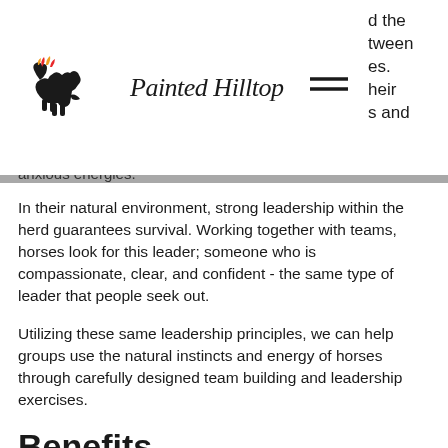Painted Hilltop logo and navigation
anxious energies.
In their natural environment, strong leadership within the herd guarantees survival. Working together with teams, horses look for this leader; someone who is compassionate, clear, and confident - the same type of leader that people seek out.
Utilizing these same leadership principles, we can help groups use the natural instincts and energy of horses through carefully designed team building and leadership exercises.
Benefits
Equine Assisted Learning can help affect change in a professional environment, and in your personal life.